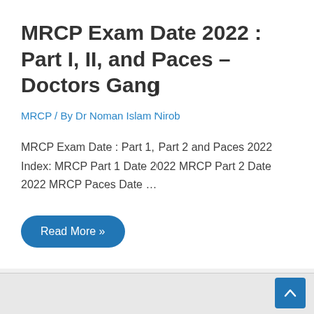MRCP Exam Date 2022 : Part I, II, and Paces – Doctors Gang
MRCP / By Dr Noman Islam Nirob
MRCP Exam Date : Part 1, Part 2 and Paces 2022 Index: MRCP Part 1 Date 2022 MRCP Part 2 Date 2022 MRCP Paces Date …
Read More »